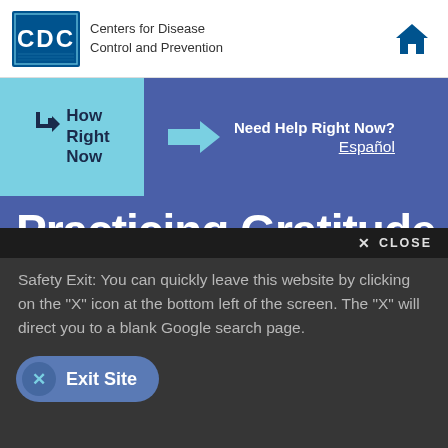CDC Centers for Disease Control and Prevention
[Figure (infographic): How Right Now banner with arrow and Need Help Right Now? text and Español link on blue background]
Practicing Gratitude
[Figure (screenshot): Dark overlay popup with CLOSE button, safety exit instructions, and Exit Site button]
Safety Exit: You can quickly leave this website by clicking on the "X" icon at the bottom left of the screen. The “X” will direct you to a blank Google search page.